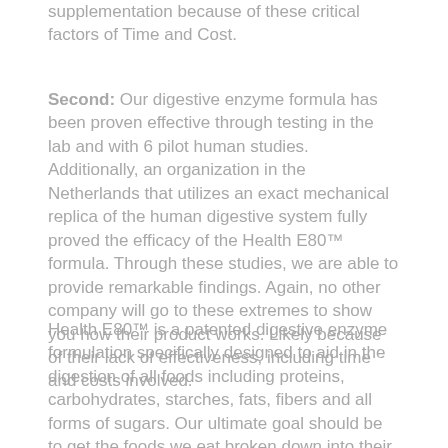supplementation because of these critical factors of Time and Cost.
Second: Our digestive enzyme formula has been proven effective through testing in the lab and with 6 pilot human studies. Additionally, an organization in the Netherlands that utilizes an exact mechanical replica of the human digestive system fully proved the efficacy of the Health E80™ formula. Through these studies, we are able to provide remarkable findings. Again, no other company will go to these extremes to show you how their product works. Likely because of their lack of effectiveness, including time and costs involved.
Health E80™ is a patented digestive enzyme formulation specifically designed to aid in the digestion of all foods including proteins, carbohydrates, starches, fats, fibers and all forms of sugars. Our ultimate goal should be to get the foods we eat broken down into their